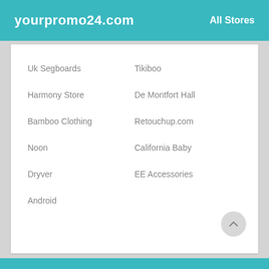yourpromo24.com
All Stores
Uk Segboards
Tikiboo
Harmony Store
De Montfort Hall
Bamboo Clothing
Retouchup.com
Noon
California Baby
Dryver
EE Accessories
Android